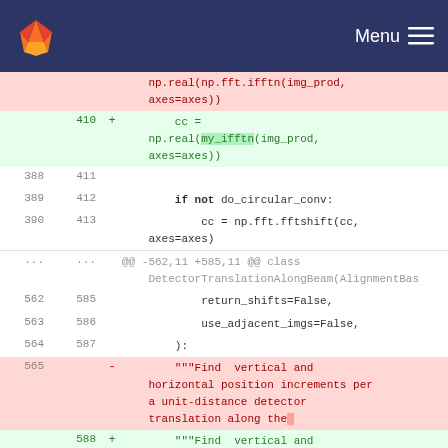GitLab navigation header with logo and Menu button
np.real(np.fft.ifftn(img_prod,
    axes=axes))
410  +      cc =
    np.real(my_ifftn(img_prod,
    axes=axes))
388  411
389  412      if not do_circular_conv:
390  413          cc = np.fft.fftshift(cc,
    axes=axes)
...  ...  @@ -562,11 +585,11 @@ class DetectorTranslationAlongBeam(AlignmentBas
562  585      return_shifts=False,
563  586      use_adjacent_imgs=False,
564  587  ):
565  -    """Find  vertical and horizontal position increments per a unit-distance detector translation along the
588  +    """Find  vertical and horizontal position increments per